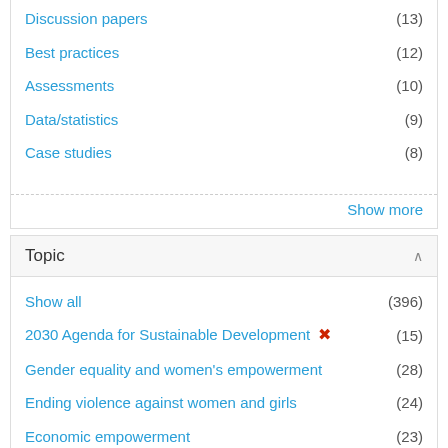Discussion papers (13)
Best practices (12)
Assessments (10)
Data/statistics (9)
Case studies (8)
Show more
Topic
Show all (396)
2030 Agenda for Sustainable Development ✕ (15)
Gender equality and women's empowerment (28)
Ending violence against women and girls (24)
Economic empowerment (23)
Governance and national planning (15)
Leadership and political participation (15)
Human rights (11)